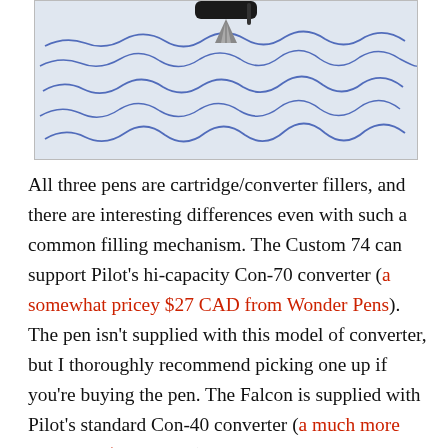[Figure (photo): Close-up photo of a fountain pen nib resting on handwritten cursive text in blue ink on white paper.]
All three pens are cartridge/converter fillers, and there are interesting differences even with such a common filling mechanism. The Custom 74 can support Pilot's hi-capacity Con-70 converter (a somewhat pricey $27 CAD from Wonder Pens). The pen isn't supplied with this model of converter, but I thoroughly recommend picking one up if you're buying the pen. The Falcon is supplied with Pilot's standard Con-40 converter (a much more agreeable $8.50 CAD), which can also be used by the Metropolitan. However, the Metropolitan, is fitted with Pilot's squeezy converter. This is a sort of bladder-like device which…